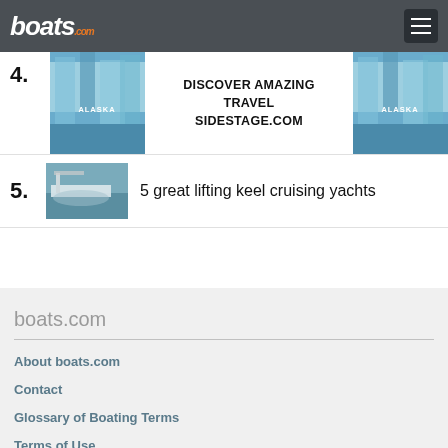boats.com
[Figure (photo): Advertisement banner with glacier/Alaska images and text DISCOVER AMAZING TRAVEL SIDESTAGE.COM, listed as item 4]
5. 5 great lifting keel cruising yachts
boats.com
About boats.com
Contact
Glossary of Boating Terms
Terms of Use
Privacy
Cookies
Press